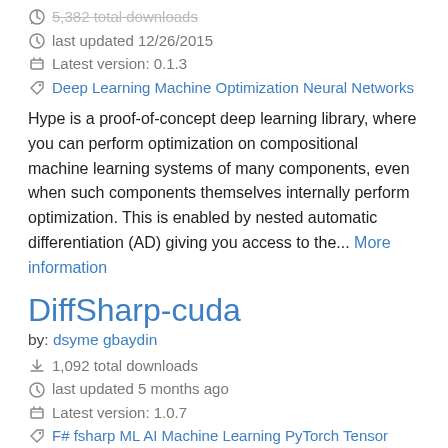5,382 total downloads
last updated 12/26/2015
Latest version: 0.1.3
Deep Learning Machine Optimization Neural Networks
Hype is a proof-of-concept deep learning library, where you can perform optimization on compositional machine learning systems of many components, even when such components themselves internally perform optimization. This is enabled by nested automatic differentiation (AD) giving you access to the... More information
DiffSharp-cuda
by: dsyme gbaydin
1,092 total downloads
last updated 5 months ago
Latest version: 1.0.7
F# fsharp ML AI Machine Learning PyTorch Tensor Automatic Differentiation More tags
DiffSharp is a tensor library with support for differentiable programming. It is designed for use in machine learning,